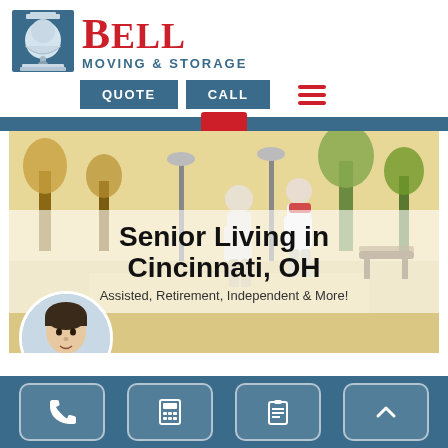[Figure (logo): Bell Moving & Storage logo with a bell icon on the left and red 'BELL' text with blue 'Moving & Storage' subtitle]
[Figure (screenshot): Navigation bar with blue QUOTE and CALL buttons and a red hamburger menu icon]
[Figure (photo): Hero image of two elderly people walking in a park, with a semi-transparent white overlay showing 'Senior Living in Cincinnati, OH' and subtitle 'Assisted, Retirement, Independent & More!']
Senior Living in Cincinnati, OH
Assisted, Retirement, Independent & More!
[Figure (screenshot): Bottom toolbar with four icon buttons: phone, calculator, clipboard/list, and up arrow chevron on a dark blue background]